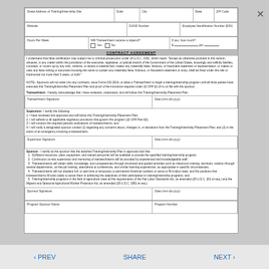| Street Address of Training/Internship Site | Suite | City | State | ZIP Code |
| --- | --- | --- | --- | --- |
|  |  |  |  |  |
| Website | DUNS Number | Employee Identification Number (EIN) |
| --- | --- | --- |
|  |  |  |
| Hours Per Week | Will Trainee/Intern receive a stipend? | If yes, how much? |
| --- | --- | --- |
|  | Yes / No | $ per |
CONTRACT AGREEMENT
I understand that false certification may subject me to criminal prosecution under 18 U.S.C. 1001, which reads: "Except as otherwise provided in this section, whoever, in any matter within the jurisdiction of the executive, legislative, or judicial branch of the Government of the United States, knowingly and willfully falsifies, conceals, or covers up by any trick, scheme, or device a material fact; makes any materially false, fictitious, or fraudulent statement or representation; or makes or uses any false writing or document knowing the same to contain any materially false, fictitious, or fraudulent statement or entry, shall be fined under this title or imprisoned not more than 5 years, or both."
NOTE– Sponsors will not enter into any contracts, issue Forms DS-2019, or allow a Trainee/Intern to begin a training/internship program until all three parties have executed this Training/Internship Placement Plan and proof of the insurance required under 22 CFR 62.14 is on file with the sponsor.
Trainee/Intern- I hereby acknowledge that I have reviewed, understand, and will follow this Training/Internship Placement Plan.
| Trainee/Intern Signature | Date (mm-dd-yyyy) |
| --- | --- |
|  |  |
Supervisor- I certify the following:
1. I have reviewed and approved and will follow this Training/Internship Placement Plan;
2. I will adhere to all applicable regulatory provisions that govern this program (22 CFR Part 62);
3. I will conduct the required periodic evaluations of trainees/interns; and
4. I will notify a designated sponsor contact (1) regarding any concerns about, changes in, or deviations from the Training/Internship Placement Plan; and (2) in the event of an emergency involving a trainee/intern.
| Supervisor Signature | Date (mm-dd-yyyy) |
| --- | --- |
|  |  |
Sponsor - I certify as the sponsor that the attached Training/Internship Plan is approved and that:
1. Sufficient resources, plant, equipment, and trained personnel will be available to provide the specified training/internship program;
2. Continuous on-site supervision and mentoring of trainees/interns will be provided by experienced and knowledgeable staff;
3. Trainees/interns will obtain skills, knowledge, and competencies through structured and guided activities such as classroom training, seminars, rotation through several departments, on-the-job training, attendance at conferences, and similar learning experiences, as appropriate in specific circumstances;
4. Trainees/interns will not displace full- or part-time or temporary or permanent American workers or serve to fill a labor need, and the positions that trainees/interns fill exist solely to assist them in achieving the objectives of their participation in training/internship programs; and
5. Training/internship programs in the field of agriculture meet all the requirements of the Fair Labor Standards Act, as amended (29 U.S.C. 201 et seq.) and the Migrant and Seasonal Agricultural Worker Protection Act, as amended (29 U.S.C. 1801 et seq.)
| Sponsor Signature | Date (mm-dd-yyyy) |
| --- | --- |
|  |  |
| Program Sponsor Name | Program Number |
| --- | --- |
|  |  |